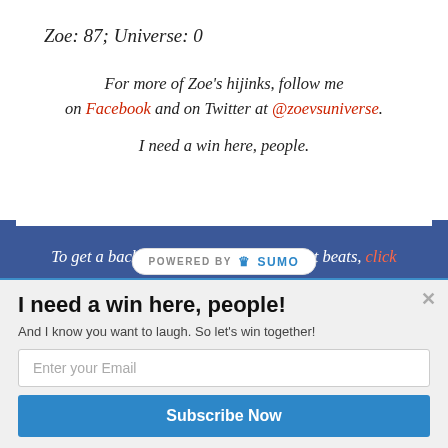Zoe: 87; Universe: 0
For more of Zoe's hijinks, follow me on Facebook and on Twitter at @zoevsuniverse.
I need a win here, people.
To get a backstage pass to all the hottest beats, click
I need a win here, people!
And I know you want to laugh. So let's win together!
Enter your Email
Subscribe Now